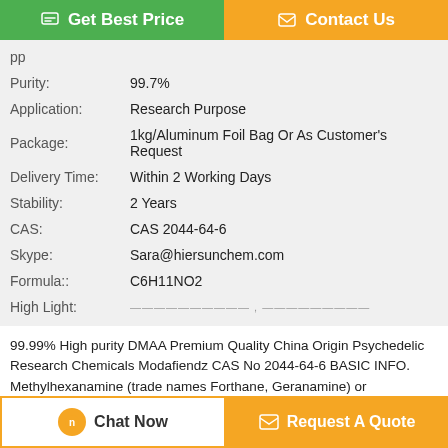[Figure (screenshot): Get Best Price and Contact Us button bar at top]
| Purity: | 99.7% |
| Application: | Research Purpose |
| Package: | 1kg/Aluminum Foil Bag Or As Customer's Request |
| Delivery Time: | Within 2 Working Days |
| Stability: | 2 Years |
| CAS: | CAS 2044-64-6 |
| Skype: | Sara@hiersunchem.com |
| Formula:: | C6H11NO2 |
| High Light: | —————————, ——————— |
99.99% High purity DMAA Premium Quality China Origin Psychedelic Research Chemicals Modafiendz CAS No 2044-64-6 BASIC INFO. Methylhexanamine (trade names Forthane, Geranamine) or methylhexamine, commonly known ...
Tags: reactive intermediates , research chemical intermediates , mdmc
[Figure (screenshot): Chat Now and Request A Quote buttons at the bottom]